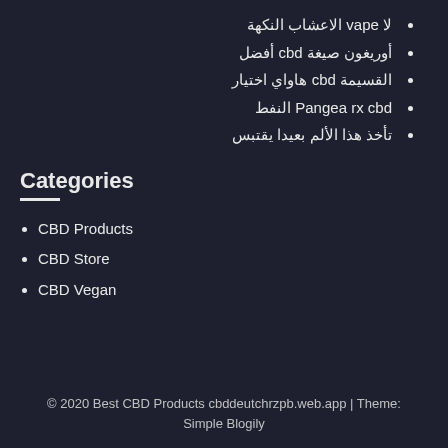لا vape الاعشاب النكهة
أوريغون صيغة cbd أفضل
القسيمة cbd هاواي اختيار
Pangea rx cbd النفط
تأخذ هذا الألم بعيدا يقتبس
Categories
CBD Products
CBD Store
CBD Vegan
© 2020 Best CBD Products cbddeutchrzpb.web.app | Theme: Simple Blogily